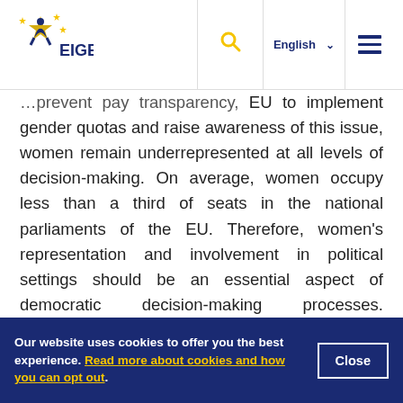EIGE — English
…prevent pay transparency, EU to implement gender quotas and raise awareness of this issue, women remain underrepresented at all levels of decision-making. On average, women occupy less than a third of seats in the national parliaments of the EU. Therefore, women's representation and involvement in political settings should be an essential aspect of democratic decision-making processes. Moreover, research shows that the …
Our website uses cookies to offer you the best experience. Read more about cookies and how you can opt out.